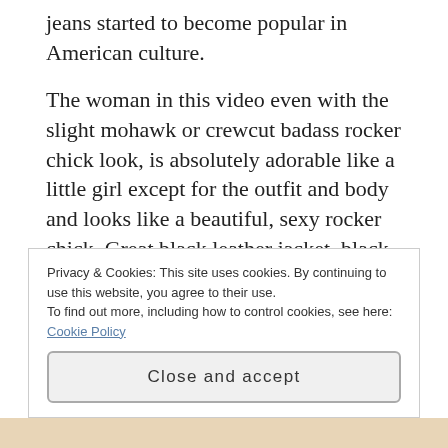jeans started to become popular in American culture.
The woman in this video even with the slight mohawk or crewcut badass rocker chick look, is absolutely adorable like a little girl except for the outfit and body and looks like a beautiful, sexy rocker chick. Great black leather jacket, black leather jeans, and boots and looks similar to how Joan Jett would look in public or Melissa Etheridge from 10-15 years ago when she was wearing skin-tight leather jeans everywhere. This is who beautiful, sexy rocker chicks
Privacy & Cookies: This site uses cookies. By continuing to use this website, you agree to their use.
To find out more, including how to control cookies, see here: Cookie Policy
Close and accept